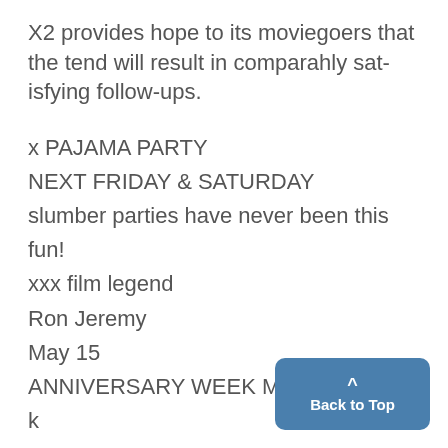X2 provides hope to its moviegoers that the tend will result in comparahly satisfying follow-ups.
x PAJAMA PARTY
NEXT FRIDAY & SATURDAY
slumber parties have never been this fun!
xxx film legend
Ron Jeremy
May 15
ANNIVERSARY WEEK MAY 1117
k
Back to Top